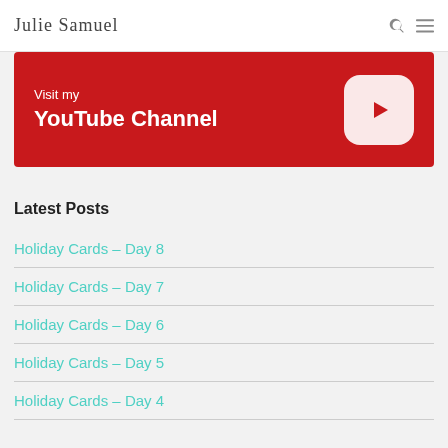Julie Samuel — navigation header with logo, search icon, and menu icon
[Figure (illustration): Red YouTube channel promotional banner with white text 'Visit my YouTube Channel' and white YouTube play button logo on right]
Latest Posts
Holiday Cards – Day 8
Holiday Cards – Day 7
Holiday Cards – Day 6
Holiday Cards – Day 5
Holiday Cards – Day 4